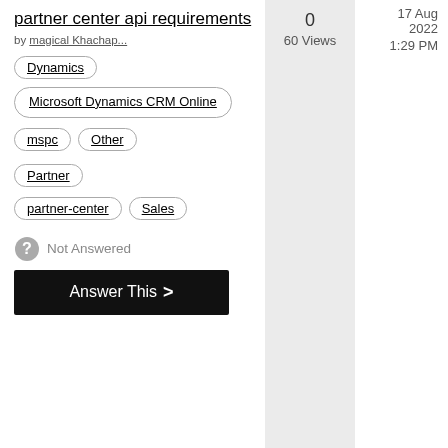partner center api requirements
by magical Khachap...
Dynamics
Microsoft Dynamics CRM Online
mspc
Other
Partner
partner-center
Sales
Not Answered
Answer This >
0
60 Views
17 Aug 2022
1:29 PM